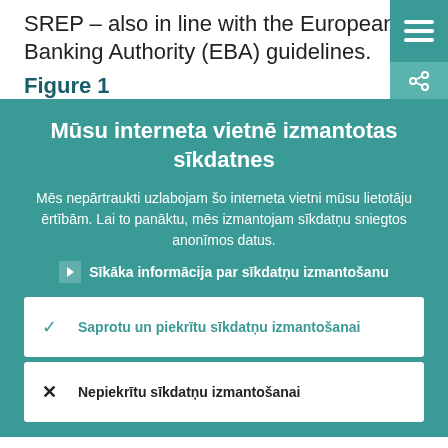SREP – also in line with the European Banking Authority (EBA) guidelines.
Figure 1
[Figure (screenshot): Cookie consent overlay on a Latvian website showing title 'Mūsu interneta vietnē izmantotas sīkdatnes', description text, link, and two buttons: accept and decline cookies.]